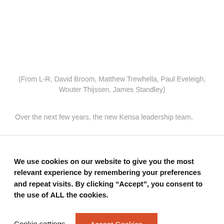(From L-R, David Broom, Matthew Trewhella, Paul Eveleigh, Wouter Thijssen, James Standley)
Over the next few years, the new Kensa leadership team,
We use cookies on our website to give you the most relevant experience by remembering your preferences and repeat visits. By clicking “Accept”, you consent to the use of ALL the cookies.
Cookie settings
Accept Cookies